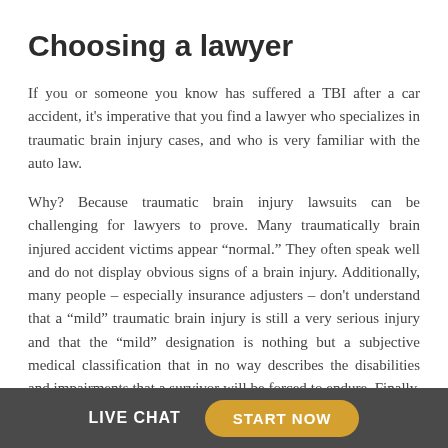Choosing a lawyer
If you or someone you know has suffered a TBI after a car accident, it's imperative that you find a lawyer who specializes in traumatic brain injury cases, and who is very familiar with the auto law.
Why? Because traumatic brain injury lawsuits can be challenging for lawyers to prove. Many traumatically brain injured accident victims appear “normal.” They often speak well and do not display obvious signs of a brain injury. Additionally, many people – especially insurance adjusters – don't understand that a “mild” traumatic brain injury is still a very serious injury and that the “mild” designation is nothing but a subjective medical classification that in no way describes the disabilities and impairments that a survivor will be forced to endure. Finally, many survivors are wrongly diagnosed and,
LIVE CHAT   START NOW